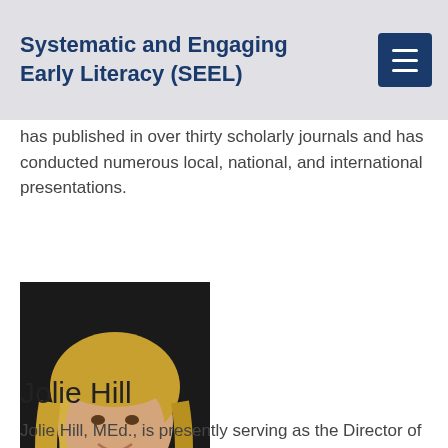Systematic and Engaging Early Literacy (SEEL)
has published in over thirty scholarly journals and has conducted numerous local, national, and international presentations.
[Figure (photo): Headshot of Jolie Hill, a woman with blonde hair wearing a green top and a pendant necklace, photographed against a dark background.]
Jolie Hill
Jolie Hill, MEd., is presently serving as the Director of